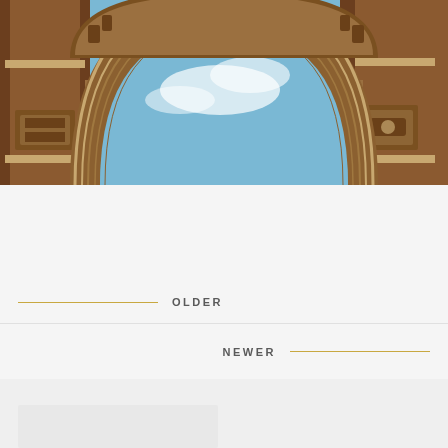[Figure (photo): Close-up upward view of an ornate brick triumphal arch against a blue sky with some clouds. The arch shows detailed stonework, carved decorations, and brick columns. The perspective is from below looking up through the arch opening.]
OLDER
NEWER